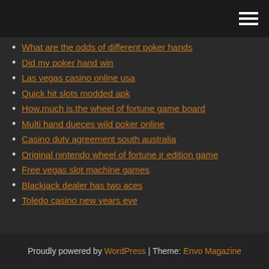What are the odds of different poker hands
Did my poker hand win
Las vegas casino online usa
Quick hit slots modded apk
How.much is.the wheel of fortune game board
Multi hand dueces wild poker online
Casino duty agreement south australia
Original nintendo wheel of fortune jr edition game
Free vegas slot machine games
Blackjack dealer has two aces
Toledo casino new years eve
Proudly powered by WordPress | Theme: Envo Magazine